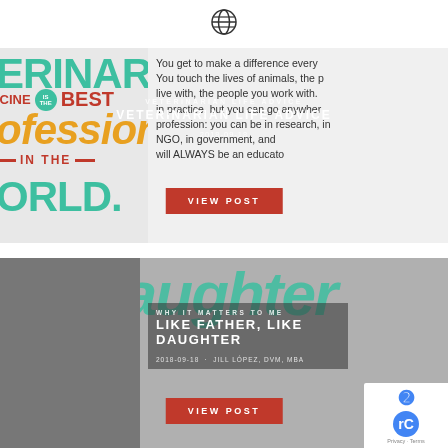[Figure (other): Globe/world icon at top center of page]
[Figure (screenshot): Blog post card for 'Veterinarian Life Advice' dated 2018-09-18, with colorful typography on left and text excerpt on right, and a red 'VIEW POST' button]
[Figure (screenshot): Blog post card for 'Like Father, Like Daughter' under category 'Why It Matters To Me', dated 2018-09-18 by Jill López, DVM, MBA, with a 'VIEW POST' button and reCAPTCHA badge]